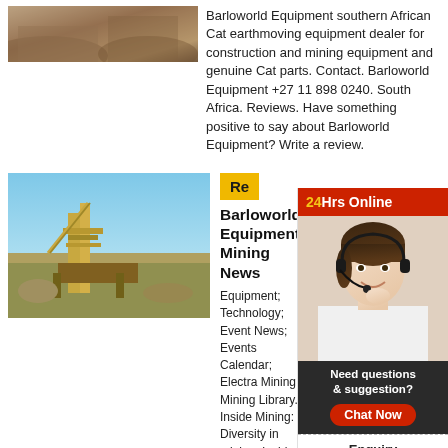[Figure (photo): Mining/earthmoving landscape photo, top left]
Barloworld Equipment southern African Cat earthmoving equipment dealer for construction and mining equipment and genuine Cat parts. Contact. Barloworld Equipment +27 11 898 0240. South Africa. Reviews. Have something positive to say about Barloworld Equipment? Write a review.
[Figure (photo): Mining conveyor/crusher machinery at a quarry site]
Re
Barloworld Equipment
Mining News
Equipment; Technology; Event News; Events Calendar; Electra Mining; Mining Library. Inside Mining: Diversity in mining; Inside Mining: Sustainability Vol 2; Inside Mining: Focus in Africa; Inside Mining: Women in Mining 2020; Inside Mining: Su... Inside Mining Dec/Jan 2019; Inside Mining Oct/No...
24Hrs Online
[Figure (photo): Customer service representative with headset, smiling]
Need questions & suggestion?
Chat Now
Enquiry
limingjlmofen